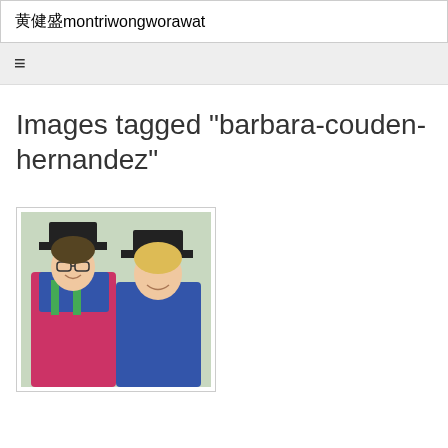黄健盛montriwongworawat
Images tagged "barbara-couden-hernandez"
[Figure (photo): Two women in academic graduation regalia (caps and gowns) smiling together. The woman on the left wears a pink/red gown with blue hood and green trim, and glasses. The woman on the right wears a blue gown.]